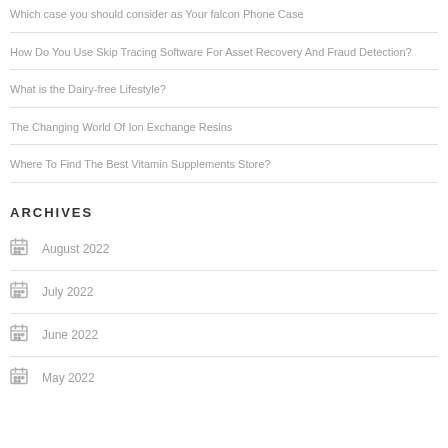Which case you should consider as Your falcon Phone Case
How Do You Use Skip Tracing Software For Asset Recovery And Fraud Detection?
What is the Dairy-free Lifestyle?
The Changing World Of Ion Exchange Resins
Where To Find The Best Vitamin Supplements Store?
ARCHIVES
August 2022
July 2022
June 2022
May 2022